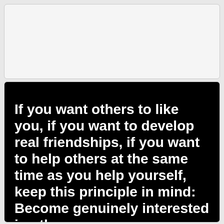[Figure (other): Empty gray card at the top of the page]
[Figure (other): Black background image card with bold white text reading: If you want others to like you, if you want to develop real friendships, if you want to help others at the same time as you help yourself, keep this principle in mind: Become genuinely interested in other]